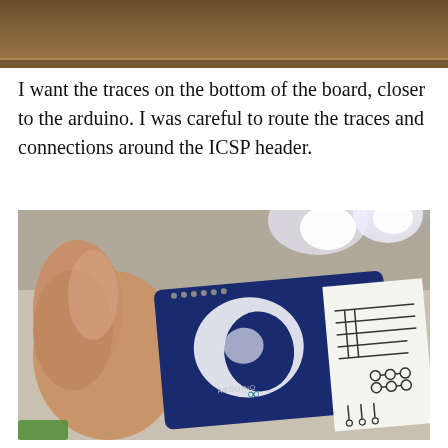[Figure (photo): Top portion of a photo showing a wooden surface/desk background, cropped at the top of the page.]
I want the traces on the bottom of the board, closer to the arduino. I was careful to route the traces and connections around the ICSP header.
[Figure (photo): A hand holding an Arduino board with the bottom side visible, next to a white paper shield/PCB layout printout showing circuit traces and connections. Bright lamp light visible in the background.]